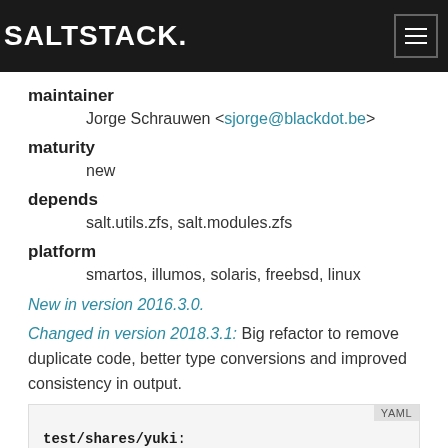SALTSTACK.
maintainer
Jorge Schrauwen <sjorge@blackdot.be>
maturity
new
depends
salt.utils.zfs, salt.modules.zfs
platform
smartos, illumos, solaris, freebsd, linux
New in version 2016.3.0.
Changed in version 2018.3.1: Big refactor to remove duplicate code, better type conversions and improved consistency in output.
test/shares/yuki: